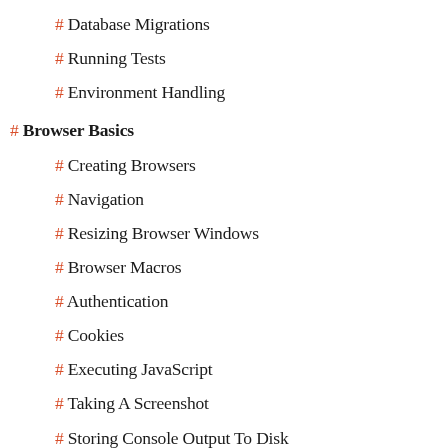# Database Migrations
# Running Tests
# Environment Handling
# Browser Basics
# Creating Browsers
# Navigation
# Resizing Browser Windows
# Browser Macros
# Authentication
# Cookies
# Executing JavaScript
# Taking A Screenshot
# Storing Console Output To Disk
# Storing Page Source To Disk